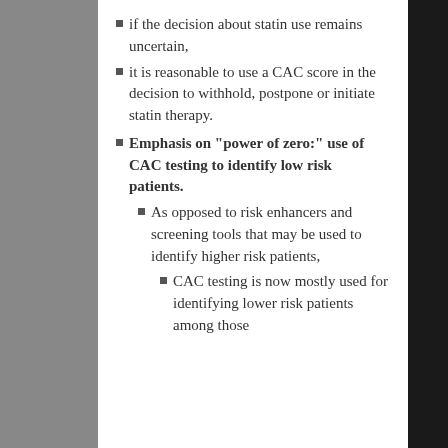if the decision about statin use remains uncertain,
it is reasonable to use a CAC score in the decision to withhold, postpone or initiate statin therapy.
Emphasis on "power of zero:" use of CAC testing to identify low risk patients.
As opposed to risk enhancers and screening tools that may be used to identify higher risk patients,
CAC testing is now mostly used for identifying lower risk patients among those